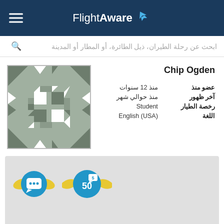FlightAware
ابحث عن رحلة الطيران، ذيل الطائرة، أو المطار أو المدينة
[Figure (illustration): User avatar / profile picture placeholder with grey geometric quilt pattern]
Chip Ogden
| label | value |
| --- | --- |
| عضو منذ | منذ 12 سنوات |
| آخر ظهور | منذ حوالي شهر |
| رخصة الطيار | Student |
| اللغة | English (USA) |
[Figure (illustration): Two FlightAware achievement badges: a chat/comment badge and a '5 / 50' comment count badge, both with blue circle and yellow wings design]